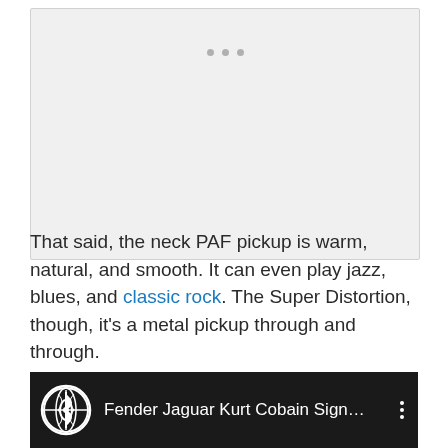[Figure (other): Placeholder image area with three grey dots indicating loading or missing image content]
That said, the neck PAF pickup is warm, natural, and smooth. It can even play jazz, blues, and classic rock. The Super Distortion, though, it's a metal pickup through and through.
[Figure (screenshot): Video thumbnail bar with Fender Jaguar Kurt Cobain Sign... title, circular guitar/music logo icon on black background with three-dot menu]